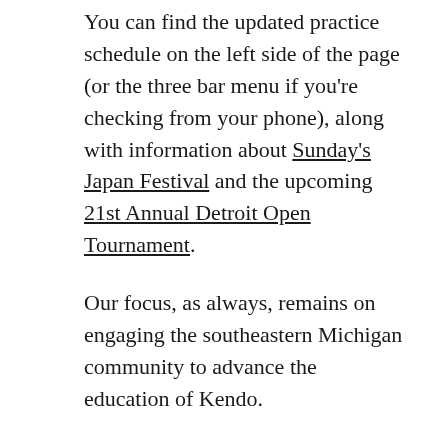You can find the updated practice schedule on the left side of the page (or the three bar menu if you're checking from your phone), along with information about Sunday's Japan Festival and the upcoming 21st Annual Detroit Open Tournament.
Our focus, as always, remains on engaging the southeastern Michigan community to advance the education of Kendo.
It is our hope that the updated website will help people to discover more about Kendo and help them to participate with us at our dojo.
If you have any issues with or suggestions about the website please feel free to post them in the comments or email us directly at detroitkendodojo@gmail.com